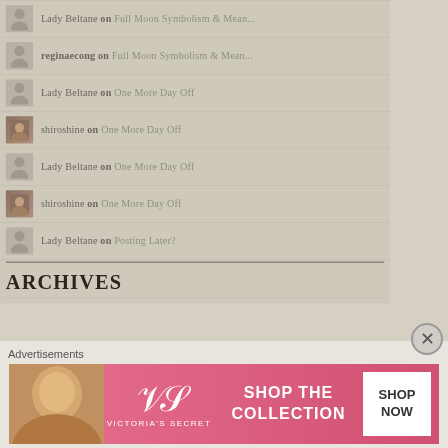Lady Beltane on Full Moon Symbolism & Mean...
reginaecong on Full Moon Symbolism & Mean...
Lady Beltane on One More Day Off
shiroshine on One More Day Off
Lady Beltane on One More Day Off
shiroshine on One More Day Off
Lady Beltane on Posting Later?
ARCHIVES
Advertisements
[Figure (other): Victoria's Secret advertisement banner: Shop The Collection, Shop Now button]